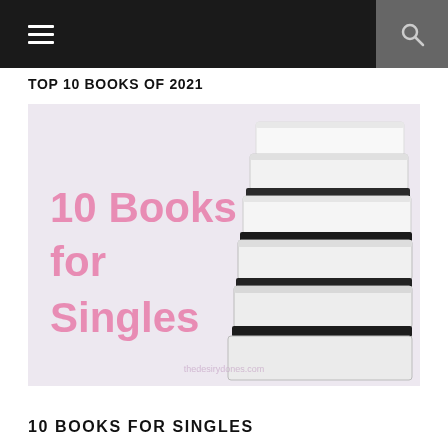TOP 10 BOOKS OF 2021
[Figure (illustration): Book cover image showing a stack of white books on the right side, with pink text on the left reading '10 Books for Singles', and a watermark URL at the bottom]
10 BOOKS FOR SINGLES